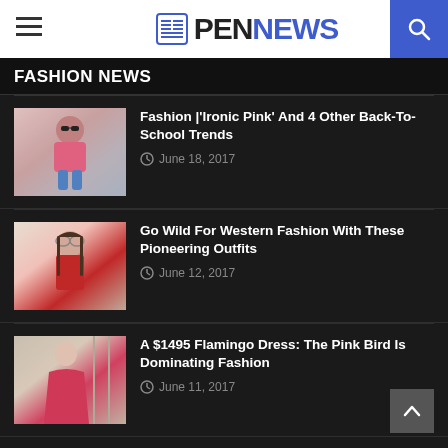PENNEWS
FASHION NEWS
[Figure (photo): Young woman in pink top and denim shorts with sunglasses]
Fashion | 'Ironic Pink' And 4 Other Back-To-School Trends
June 18, 2017
[Figure (photo): Young woman with sunglasses and red jacket]
Go Wild For Western Fashion With These Pioneering Outfits
June 12, 2017
[Figure (photo): Woman in red flamingo dress]
A $1495 Flamingo Dress: The Pink Bird Is Dominating Fashion
June 11, 2017
CATEGORIES